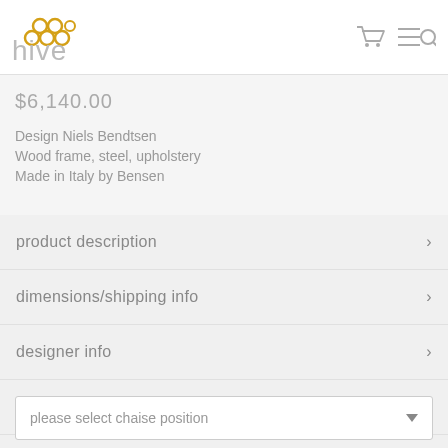hive
$6,140.00
Design Niels Bendtsen
Wood frame, steel, upholstery
Made in Italy by Bensen
product description
dimensions/shipping info
designer info
manufacturer info
media
reviews
please select chaise position